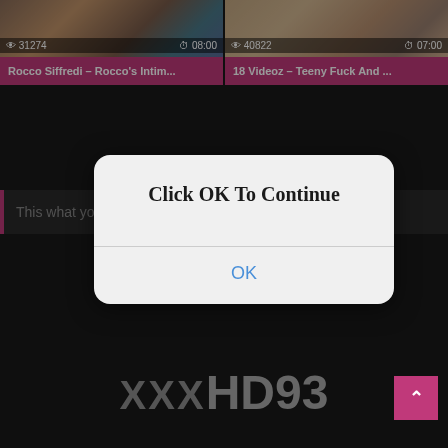[Figure (screenshot): Two video thumbnails side by side showing adult video content with view counts and durations]
31274  08:00
Rocco Siffredi – Rocco's Intim...
40822  07:00
18 Videoz – Teeny Fuck And ...
This what you came for
Click OK To Continue
OK
XXXHD93